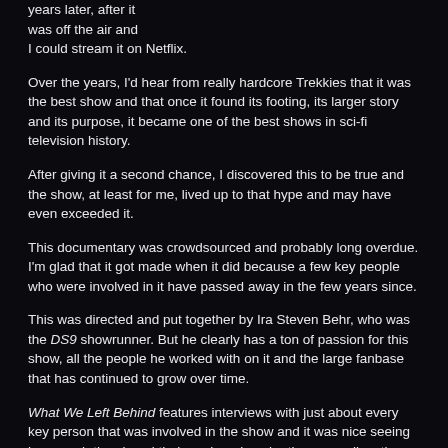years later, after it was off the air and I could stream it on Netflix.
Over the years, I'd hear from really hardcore Trekkies that it was the best show and that once it found its footing, its larger story and its purpose, it became one of the best shows in sci-fi television history.
After giving it a second chance, I discovered this to be true and the show, at least for me, lived up to that hype and may have even exceeded it.
This documentary was crowdsourced and probably long overdue. I'm glad that it got made when it did because a few key people who were involved in it have passed away in the few years since.
This was directed and put together by Ira Steven Behr, who was the DS9 showrunner. But he clearly has a ton of passion for this show, all the people he worked with on it and the large fanbase that has continued to grow over time.
What We Left Behind features interviews with just about every key person that was involved in the show and it was nice seeing how much they loved their work and each other, as well as the fans. Sadly, many fanbases have been wrecked in recent years, Star Trek, as a whole, being one of them. However, for whatever reason, DS9 seems to be less effected by that.